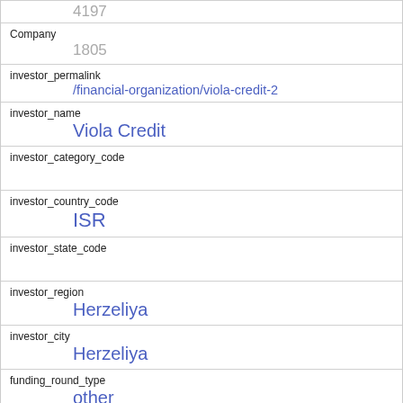4197
Company
1805
investor_permalink
/financial-organization/viola-credit-2
investor_name
Viola Credit
investor_category_code
investor_country_code
ISR
investor_state_code
investor_region
Herzeliya
investor_city
Herzeliya
funding_round_type
other
funded_at
1205625600